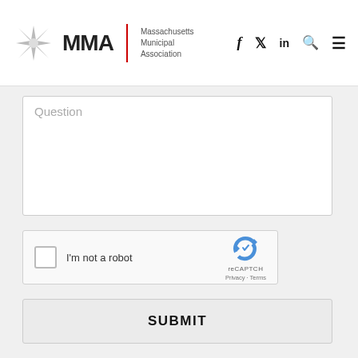MMA | Massachusetts Municipal Association
Question
[Figure (screenshot): reCAPTCHA widget with checkbox labeled 'I'm not a robot' and reCAPTCHA logo with Privacy and Terms links]
SUBMIT
MAYORS